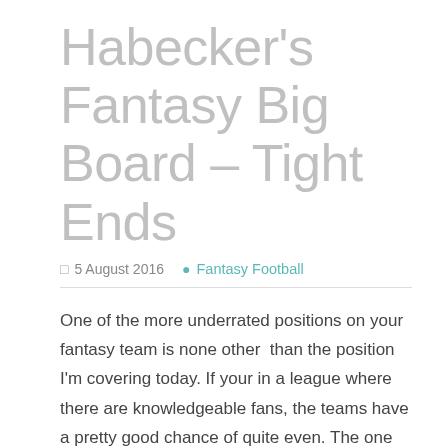Habecker's Fantasy Big Board – Tight Ends
5 August 2016   Fantasy Football
One of the more underrated positions on your fantasy team is none other  than the position I'm covering today. If your in a league where there are knowledgeable fans, the teams have a pretty good chance of quite even. The one area where you can separate easily is at tight end. A dynamic tight end will give you an edge like no other player can because they are so few and far between. Some are injury prone due to the physicality, others are more of a blocking tight end and don't offer much through